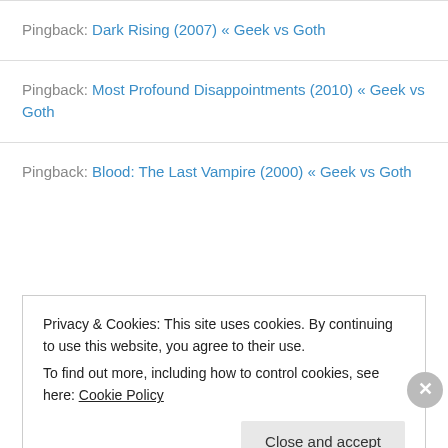Pingback: Dark Rising (2007) « Geek vs Goth
Pingback: Most Profound Disappointments (2010) « Geek vs Goth
Pingback: Blood: The Last Vampire (2000) « Geek vs Goth
Privacy & Cookies: This site uses cookies. By continuing to use this website, you agree to their use.
To find out more, including how to control cookies, see here: Cookie Policy